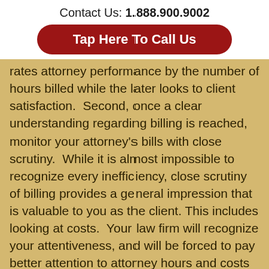Contact Us: 1.888.900.9002
Tap Here To Call Us
rates attorney performance by the number of hours billed while the later looks to client satisfaction.  Second, once a clear understanding regarding billing is reached, monitor your attorney's bills with close scrutiny.  While it is almost impossible to recognize every inefficiency, close scrutiny of billing provides a general impression that is valuable to you as the client.  This includes looking at costs.  Your law firm will recognize your attentiveness, and will be forced to pay better attention to attorney hours and costs incurred (i.e. consider reducing attorney hours charged for a new associate's work on a motion that could have been finished faster by a more experienced lawyer or consider three or four star